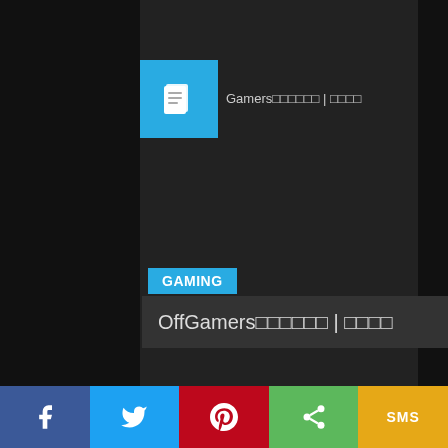[Figure (screenshot): Website screenshot showing OffGamers gaming content page with GAMING category badge, article titles in mixed English and East Asian characters, article thumbnail icons, and social sharing bar at bottom with Facebook, Twitter, Pinterest, Share, and SMS buttons]
OffGamers□□□□□□ | □□□□
GAMING
OffGamers□□□□□□ | □□□□
□amers New Website | How to Purchase